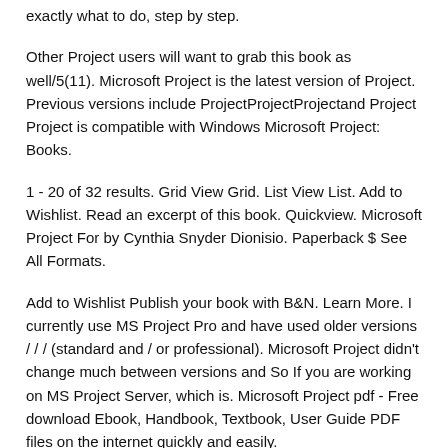exactly what to do, step by step.
Other Project users will want to grab this book as well/5(11). Microsoft Project is the latest version of Project. Previous versions include ProjectProjectProjectand Project Project is compatible with Windows Microsoft Project: Books.
1 - 20 of 32 results. Grid View Grid. List View List. Add to Wishlist. Read an excerpt of this book. Quickview. Microsoft Project For by Cynthia Snyder Dionisio. Paperback $ See All Formats.
Add to Wishlist Publish your book with B&N. Learn More. I currently use MS Project Pro and have used older versions / / / (standard and / or professional). Microsoft Project didn't change much between versions and So If you are working on MS Project Server, which is. Microsoft Project pdf - Free download Ebook, Handbook, Textbook, User Guide PDF files on the internet quickly and easily.
Microsoft Project Step by Step Pdf Kindle Free Download. Free Torrent Download Microsoft Project Step by Step Pdf ebook. Best new ebookee website alternative. How to Download Microsoft Project Step